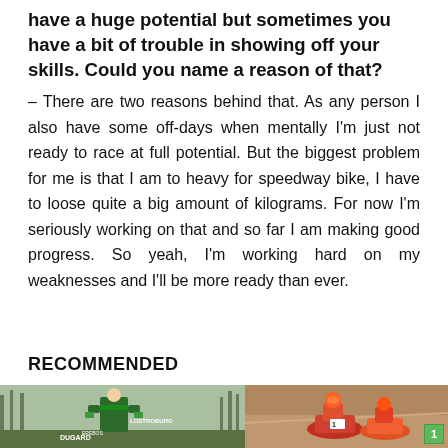have a huge potential but sometimes you have a bit of trouble in showing off your skills. Could you name a reason of that?
– There are two reasons behind that. As any person I also have some off-days when mentally I'm just not ready to race at full potential. But the biggest problem for me is that I am to heavy for speedway bike, I have to loose quite a big amount of kilograms. For now I'm seriously working on that and so far I am making good progress. So yeah, I'm working hard on my weaknesses and I'll be more ready than ever.
RECOMMENDED
[Figure (photo): Photo of a person in green and black racing gear standing outdoors with bare trees in background, text overlay includes 'LOSTROBURG', 'DUGARD']
[Figure (photo): Photo of speedway motorcycle racers leaning into a turn on a dirt track]